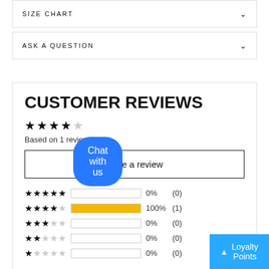SIZE CHART
ASK A QUESTION
CUSTOMER REVIEWS
★★★★☆ Based on 1 review
Write a review
| Stars | Bar | Percent | Count |
| --- | --- | --- | --- |
| ★★★★★ | 0% | 0% | (0) |
| ★★★★☆ | 100% | 100% | (1) |
| ★★★☆☆ | 0% | 0% | (0) |
| ★★☆☆☆ | 0% | 0% | (0) |
| ★☆☆☆☆ | 0% | 0% | (0) |
Chat with us
▲ Loyalty Points